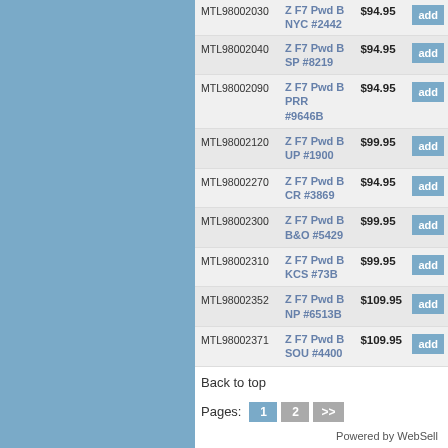| SKU | Description | Price | Action |
| --- | --- | --- | --- |
| MTL98002030 | Z F7 Pwd B NYC #2442 | $94.95 | add |
| MTL98002040 | Z F7 Pwd B SP #8219 | $94.95 | add |
| MTL98002090 | Z F7 Pwd B PRR #9646B | $94.95 | add |
| MTL98002120 | Z F7 Pwd B UP #1900 | $99.95 | add |
| MTL98002270 | Z F7 Pwd B CR #3869 | $94.95 | add |
| MTL98002300 | Z F7 Pwd B B&O #5429 | $99.95 | add |
| MTL98002310 | Z F7 Pwd B KCS #73B | $99.95 | add |
| MTL98002352 | Z F7 Pwd B NP #6513B | $109.95 | add |
| MTL98002371 | Z F7 Pwd B SOU #4400 | $109.95 | add |
Back to top
Pages: 1 2 >>
Powered by WebSell
Home | About Us | Contact Us | Priva...